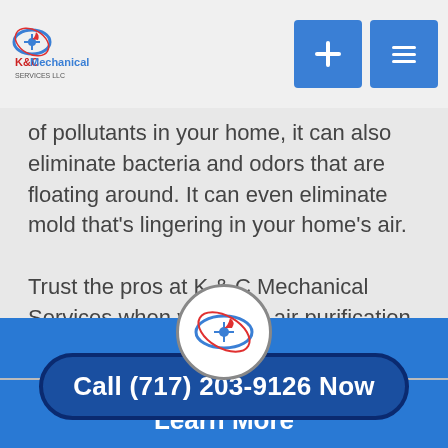[Figure (logo): KC Mechanical Services LLC logo with icon]
of pollutants in your home, it can also eliminate bacteria and odors that are floating around. It can even eliminate mold that's lingering in your home's air.

Trust the pros at K & C Mechanical Services when you need air purification in your home. Call us at 717-203-9126 today.
Call (717) 203-9126 Now
[Figure (logo): KC Mechanical Services LLC small circular logo in footer]
Learn More